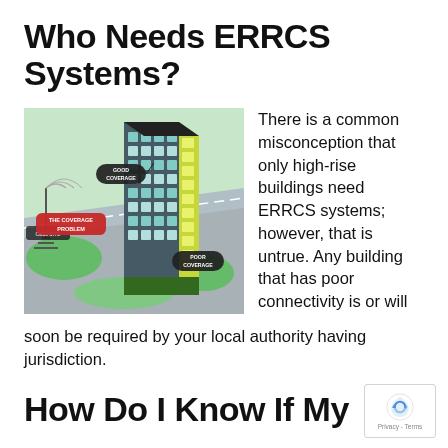Who Needs ERRCS Systems?
[Figure (infographic): Illustration of a high-rise building with labels showing 'GOOD COVERAGE' near the top, 'POOR COVERAGE' near the bottom right, and 'THE COVERAGE PROBLEM' on a red label to the left. Background shows aerial view of roads and greenery.]
There is a common misconception that only high-rise buildings need ERRCS systems; however, that is untrue. Any building that has poor connectivity is or will soon be required by your local authority having jurisdiction.
How Do I Know If My Buildi…